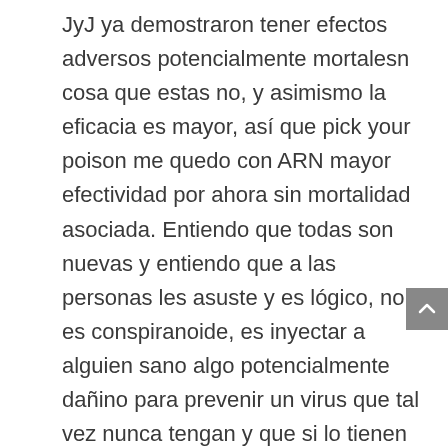JyJ ya demostraron tener efectos adversos potencialmente mortalesn cosa que estas no, y asimismo la eficacia es mayor, así que pick your poison me quedo con ARN mayor efectividad por ahora sin mortalidad asociada. Entiendo que todas son nuevas y entiendo que a las personas les asuste y es lógico, no es conspiranoide, es inyectar a alguien sano algo potencialmente dañino para prevenir un virus que tal vez nunca tengan y que si lo tienen salvo en los grupos de riesgo probablemente ni tengan mayores problemas. Entonces cuánto más riesgo tenes de